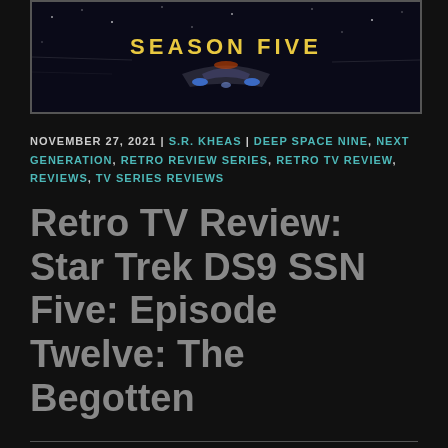[Figure (illustration): Banner image for Star Trek DS9 Season Five with spaceship and yellow text 'SEASON FIVE' on dark space background]
NOVEMBER 27, 2021 | S.R. KHEAS | DEEP SPACE NINE, NEXT GENERATION, RETRO REVIEW SERIES, RETRO TV REVIEW, REVIEWS, TV SERIES REVIEWS
Retro TV Review: Star Trek DS9 SSN Five: Episode Twelve: The Begotten
Although we are done with DS9 and have travelled back to the past with Enterprise, that